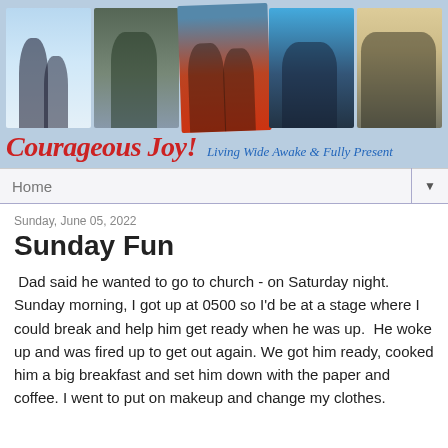[Figure (photo): Blog header banner with five outdoor/family photos arranged in a row, showing people in winter, fishing, hunting (orange hats), kayaking, and a family group photo indoors. Below the photos: 'Courageous Joy!' in red italic script and 'Living Wide Awake & Fully Present' in blue italic.]
Home ▼
Sunday, June 05, 2022
Sunday Fun
Dad said he wanted to go to church - on Saturday night. Sunday morning, I got up at 0500 so I'd be at a stage where I could break and help him get ready when he was up.  He woke up and was fired up to get out again. We got him ready, cooked him a big breakfast and set him down with the paper and coffee. I went to put on makeup and change my clothes.